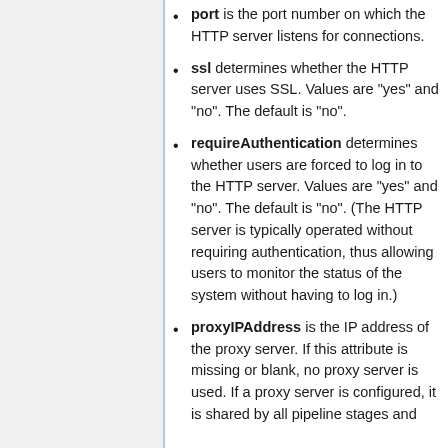port is the port number on which the HTTP server listens for connections.
ssl determines whether the HTTP server uses SSL. Values are "yes" and "no". The default is "no".
requireAuthentication determines whether users are forced to log in to the HTTP server. Values are "yes" and "no". The default is "no". (The HTTP server is typically operated without requiring authentication, thus allowing users to monitor the status of the system without having to log in.)
proxyIPAddress is the IP address of the proxy server. If this attribute is missing or blank, no proxy server is used. If a proxy server is configured, it is shared by all pipeline stages and conducts.